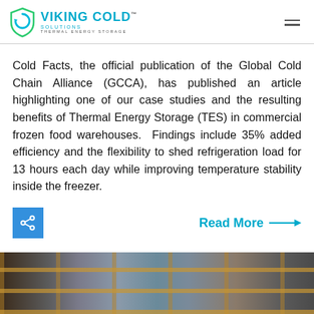[Figure (logo): Viking Cold Solutions logo — shield icon in teal/green with company name and tagline 'Thermal Energy Storage']
Cold Facts, the official publication of the Global Cold Chain Alliance (GCCA), has published an article highlighting one of our case studies and the resulting benefits of Thermal Energy Storage (TES) in commercial frozen food warehouses. Findings include 35% added efficiency and the flexibility to shed refrigeration load for 13 hours each day while improving temperature stability inside the freezer.
[Figure (photo): Industrial refrigeration equipment photo showing pipes, control panel, and machinery in a frozen food warehouse setting]